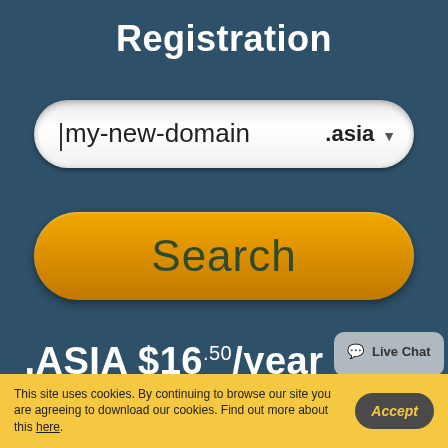Registration
[Figure (screenshot): Domain search input field showing 'my-new-domain' text with '.asia' TLD dropdown selector]
[Figure (screenshot): Orange rounded 'Search' button]
.ASIA $16.50/year
[Figure (screenshot): Live Chat speech bubble widget]
This site uses cookies. By continuing to browse our site you are agreeing to download our cookies. Find out more about this here.